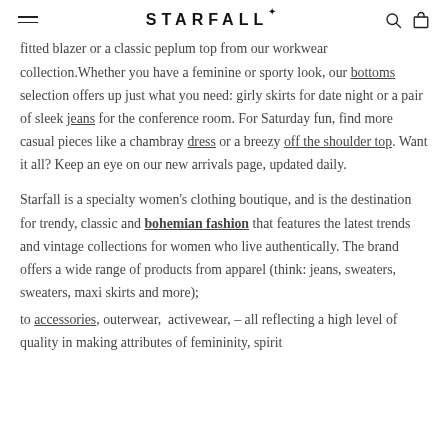STARFALL
fitted blazer or a classic peplum top from our workwear collection.Whether you have a feminine or sporty look, our bottoms selection offers up just what you need: girly skirts for date night or a pair of sleek jeans for the conference room. For Saturday fun, find more casual pieces like a chambray dress or a breezy off the shoulder top. Want it all? Keep an eye on our new arrivals page, updated daily.
Starfall is a specialty women's clothing boutique, and is the destination for trendy, classic and bohemian fashion that features the latest trends and vintage collections for women who live authentically. The brand offers a wide range of products from apparel (think: jeans, sweaters, sweaters, maxi skirts and more);
to accessories, outerwear,  activewear, – all reflecting a high level of quality in making attributes of femininity, spirit